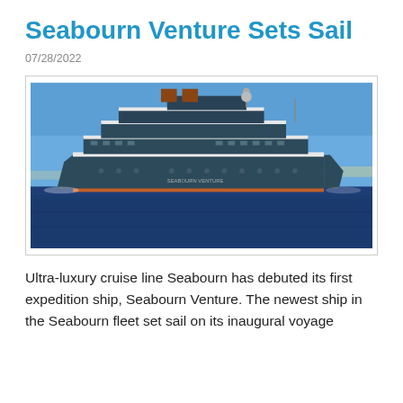Seabourn Venture Sets Sail
07/28/2022
[Figure (photo): Photograph of the Seabourn Venture expedition cruise ship at sea, showing a large dark teal/navy colored ship with white deck railings and multiple decks, sailing on deep blue water with a clear blue sky and faint coastline in the background.]
Ultra-luxury cruise line Seabourn has debuted its first expedition ship, Seabourn Venture. The newest ship in the Seabourn fleet set sail on its inaugural voyage